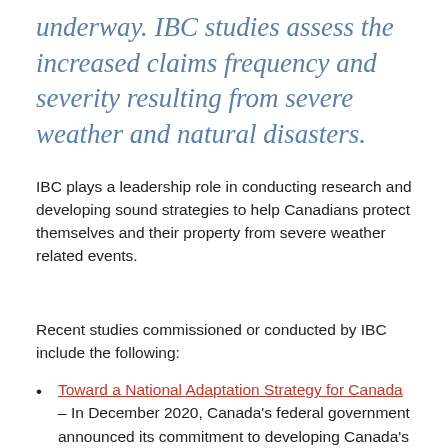underway. IBC studies assess the increased claims frequency and severity resulting from severe weather and natural disasters.
IBC plays a leadership role in conducting research and developing sound strategies to help Canadians protect themselves and their property from severe weather related events.
Recent studies commissioned or conducted by IBC include the following:
Toward a National Adaptation Strategy for Canada – In December 2020, Canada's federal government announced its commitment to developing Canada's first-ever national